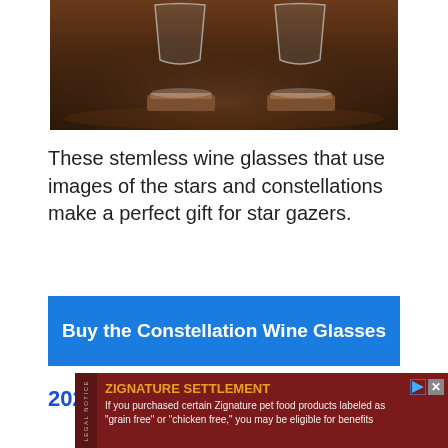[Figure (photo): Two stemless wine glasses sitting on wooden coasters on a dark wooden surface, photographed from a low angle]
These stemless wine glasses that use images of the stars and constellations make a perfect gift for star gazers.
[Figure (other): Blue call-to-action button reading 'Buy the Constellation Wine Glasses']
2022 Guide to the Night Sky
[Figure (other): Advertisement banner: ZIGNATURE SETTLEMENT - If you purchased certain Zignature pet food products labeled as 'grain free' or 'chicken free,' you may be eligible for benefits]